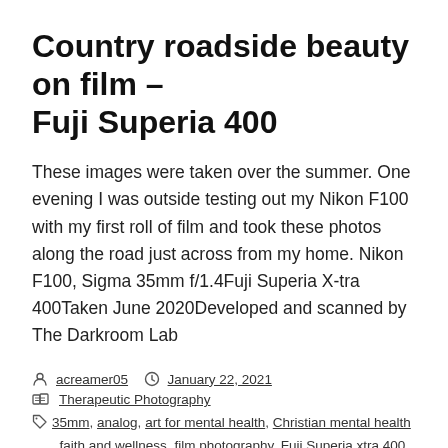Country roadside beauty on film – Fuji Superia 400
These images were taken over the summer. One evening I was outside testing out my Nikon F100 with my first roll of film and took these photos along the road just across from my home. Nikon F100, Sigma 35mm f/1.4Fuji Superia X-tra 400Taken June 2020Developed and scanned by The Darkroom Lab
By acreamer05  January 22, 2021
Therapeutic Photography
35mm, analog, art for mental health, Christian mental health, faith and wellness, film photography, Fuji Superia xtra 400, mental health, nature, Nikon F100, Nikon film, Therapeutic Photography
Leave a comment